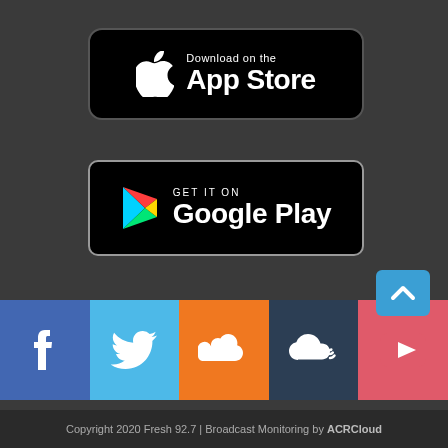[Figure (logo): Download on the App Store button — black rounded rectangle with Apple logo and text 'Download on the App Store']
[Figure (logo): Get it on Google Play button — black rounded rectangle with Google Play triangle logo and text 'GET IT ON Google Play']
[Figure (infographic): Social media icon bar with Facebook (blue), Twitter (light blue), SoundCloud (orange), cloud streaming (dark blue), and YouTube (red/pink) icons. Scroll-to-top button (blue) overlaid at top right.]
Copyright 2020 Fresh 92.7 | Broadcast Monitoring by ACRCloud